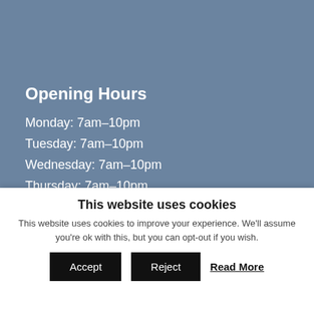Opening Hours
Monday: 7am–10pm
Tuesday: 7am–10pm
Wednesday: 7am–10pm
Thursday: 7am–10pm
Friday: 7am–10pm
Saturday: 7am–10pm
Sunday: 7am–10pm
This website uses cookies
This website uses cookies to improve your experience. We'll assume you're ok with this, but you can opt-out if you wish.
Accept  Reject  Read More